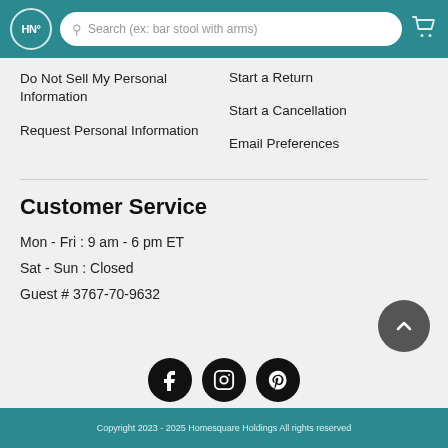HN° Search (ex: bar stool with arms)
Do Not Sell My Personal Information
Request Personal Information
Start a Return
Start a Cancellation
Email Preferences
Customer Service
Mon - Fri : 9 am - 6 pm ET
Sat - Sun : Closed
Guest # 3767-70-9632
[Figure (infographic): Social media icons: Facebook, Instagram, Pinterest]
Copyright 2023 - 2025 Homesquare Holdings All rights reserved